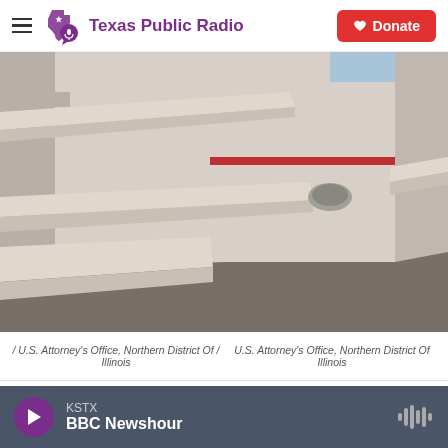Texas Public Radio — Donate
[Figure (photo): Interior of a sparse detention cell with white concrete bench/bunk fixtures and gray concrete floor, a small metal sink/toilet fixture visible on the right wall with a red stripe, and a high window at the back.]
/ U.S. Attorney's Office, Northern District Of / Illinois     U.S. Attorney's Office, Northern District Of Illinois
KSTX BBC Newshour